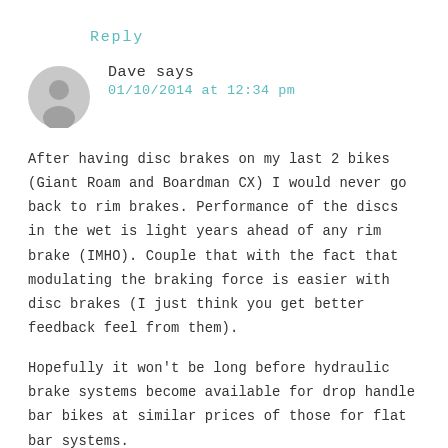Reply
Dave says
01/10/2014 at 12:34 pm
After having disc brakes on my last 2 bikes (Giant Roam and Boardman CX) I would never go back to rim brakes. Performance of the discs in the wet is light years ahead of any rim brake (IMHO). Couple that with the fact that modulating the braking force is easier with disc brakes (I just think you get better feedback feel from them).
Hopefully it won't be long before hydraulic brake systems become available for drop handle bar bikes at similar prices of those for flat bar systems.